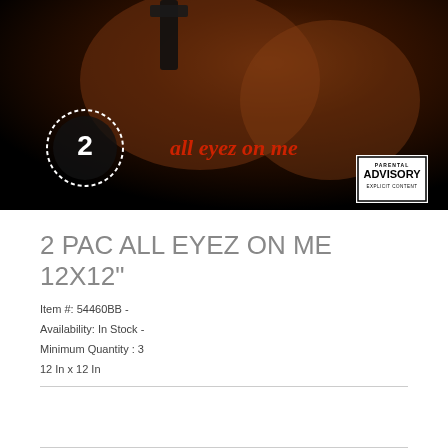[Figure (photo): 2Pac All Eyez On Me album cover showing tattooed arms holding a gun, with the 2Pac logo and 'all eyez on me' text in red, and a Parental Advisory Explicit Content label]
2 PAC ALL EYEZ ON ME 12X12"
Item #: 54460BB -
Availability: In Stock -
Minimum Quantity : 3
12 In x 12 In
Poster Format: